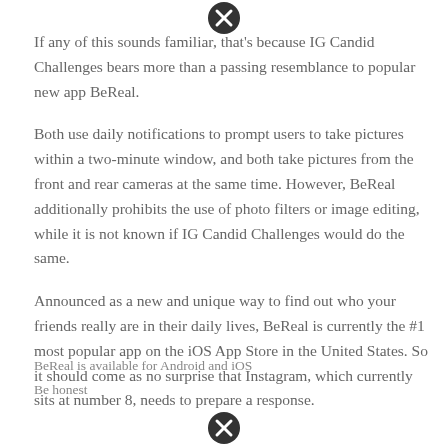If any of this sounds familiar, that's because IG Candid Challenges bears more than a passing resemblance to popular new app BeReal.
Both use daily notifications to prompt users to take pictures within a two-minute window, and both take pictures from the front and rear cameras at the same time. However, BeReal additionally prohibits the use of photo filters or image editing, while it is not known if IG Candid Challenges would do the same.
Announced as a new and unique way to find out who your friends really are in their daily lives, BeReal is currently the #1 most popular app on the iOS App Store in the United States. So it should come as no surprise that Instagram, which currently sits at number 8, needs to prepare a response.
BeReal is available for Android and iOS
Be honest